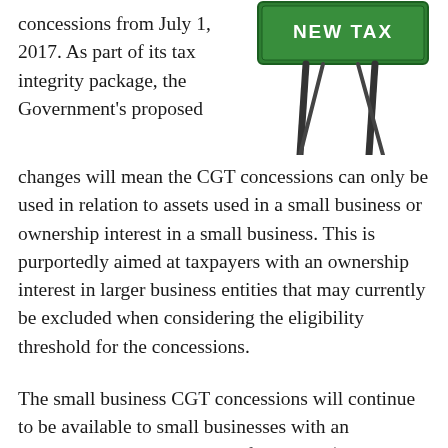concessions from July 1, 2017. As part of its tax integrity package, the Government's proposed changes will mean the CGT concessions can only be used in relation to assets used in a small business or ownership interest in a small business. This is purportedly aimed at taxpayers with an ownership interest in larger business entities that may currently be excluded when considering the eligibility threshold for the concessions.
[Figure (photo): A road sign (green highway-style sign) on two posts with a diagonal support, photographed against a white background.]
The small business CGT concessions will continue to be available to small businesses with an aggregated annual turnover of less than $2 million or net assets of less than $6 million. The Government has not provided any further details on this measure and the breadth of these changes is